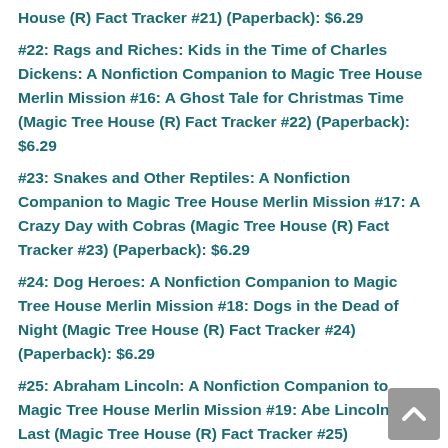House (R) Fact Tracker #21) (Paperback): $6.29
#22: Rags and Riches: Kids in the Time of Charles Dickens: A Nonfiction Companion to Magic Tree House Merlin Mission #16: A Ghost Tale for Christmas Time (Magic Tree House (R) Fact Tracker #22) (Paperback): $6.29
#23: Snakes and Other Reptiles: A Nonfiction Companion to Magic Tree House Merlin Mission #17: A Crazy Day with Cobras (Magic Tree House (R) Fact Tracker #23) (Paperback): $6.29
#24: Dog Heroes: A Nonfiction Companion to Magic Tree House Merlin Mission #18: Dogs in the Dead of Night (Magic Tree House (R) Fact Tracker #24) (Paperback): $6.29
#25: Abraham Lincoln: A Nonfiction Companion to Magic Tree House Merlin Mission #19: Abe Lincoln at Last (Magic Tree House (R) Fact Tracker #25) (Paperback): $6.29
#26: Pandas and Other Endangered Species: A Nonfiction Companion to Magic Tree House Merlin Mission #20: A Perfect Time for Pandas